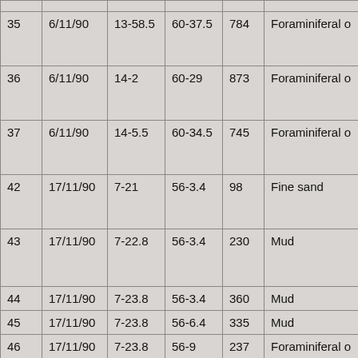|  |  |  |  |  |  |
| --- | --- | --- | --- | --- | --- |
| 35 | 6/11/90 | 13-58.5 | 60-37.5 | 784 | Foraminiferal o |
| 36 | 6/11/90 | 14-2 | 60-29 | 873 | Foraminiferal o |
| 37 | 6/11/90 | 14-5.5 | 60-34.5 | 745 | Foraminiferal o |
| 42 | 17/11/90 | 7-21 | 56-3.4 | 98 | Fine sand |
| 43 | 17/11/90 | 7-22.8 | 56-3.4 | 230 | Mud |
| 44 | 17/11/90 | 7-23.8 | 56-3.4 | 360 | Mud |
| 45 | 17/11/90 | 7-23.8 | 56-6.4 | 335 | Mud |
| 46 | 17/11/90 | 7-23.8 | 56-9 | 237 | Foraminiferal o |